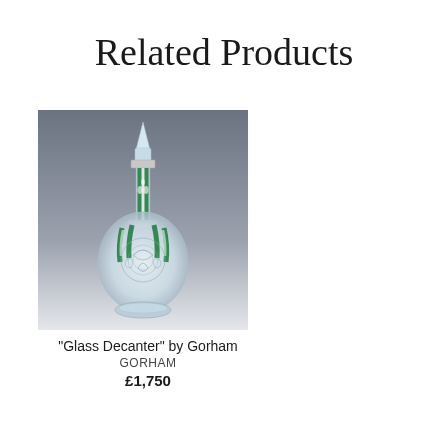Related Products
[Figure (photo): A glass decanter with green and clear crystal design, featuring a pointed stopper, long neck with green vertical panels, and a round etched body with floral/leaf patterns, photographed against a grey-to-white gradient background.]
"Glass Decanter" by Gorham
GORHAM
£1,750